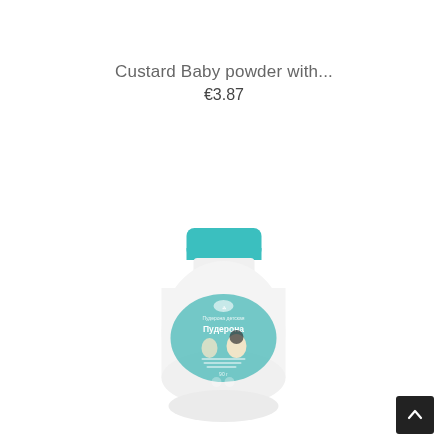Custard Baby powder with...
€3.87
[Figure (photo): A white baby powder bottle with a teal/turquoise screw cap. The bottle has a teal label with Russian text reading 'Пудерона' (baby powder), decorated with an illustration of a mother and child. The bottle is rounded and squat in shape.]